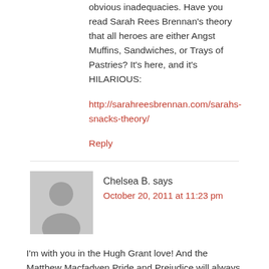obvious inadequacies. Have you read Sarah Rees Brennan's theory that all heroes are either Angst Muffins, Sandwiches, or Trays of Pastries? It's here, and it's HILARIOUS:
http://sarahreesbrennan.com/sarahs-snacks-theory/
Reply
Chelsea B. says
October 20, 2011 at 11:23 pm
I'm with you in the Hugh Grant love! And the Matthew Macfadyen Pride and Prejudice will always be my favorite movie eveha! Though, I will say, Colin Firth is